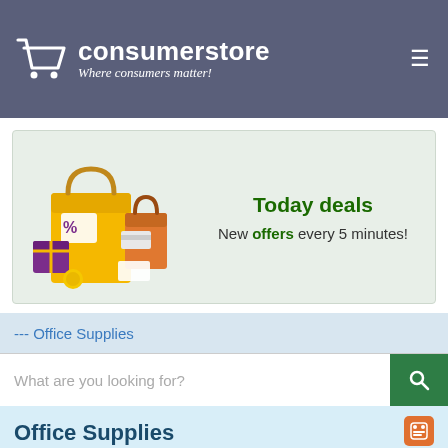consumerstore — Where consumers matter!
[Figure (illustration): Shopping bags with sale tags and gifts illustration]
Today deals
New offers every 5 minutes!
--- Office Supplies
What are you looking for?
Home / Office Products / Office Supplies
Office Supplies
11,976 Items
Find products related to Office Supplies in our catalog. Information of 1628 brands of articles. Our catalog has